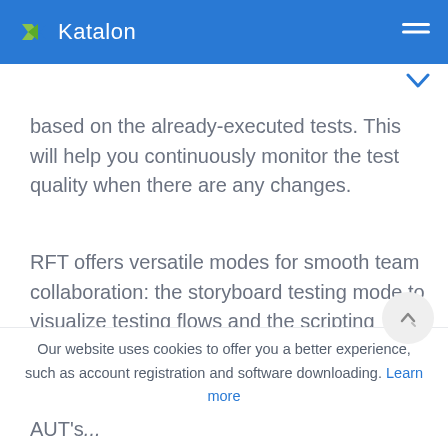Katalon
based on the already-executed tests. This will help you continuously monitor the test quality when there are any changes.
RFT offers versatile modes for smooth team collaboration: the storyboard testing mode to visualize testing flows and the scripting mode for more advanced purposes.
Our website uses cookies to offer you a better experience, such as account registration and software downloading. Learn more
AUT's...